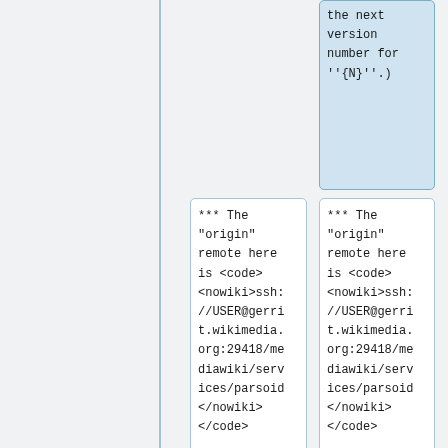the next version number for ''{N}''.
*** The "origin" remote here is <code><nowiki>ssh://USER@gerrit.wikimedia.org:29418/mediawiki/services/parsoid</nowiki></code>
*** The "origin" remote here is <code><nowiki>ssh://USER@gerrit.wikimedia.org:29418/mediawiki/services/parsoid</nowiki></code>
*** Nothing more than usual <code>push</code>
*** Nothing more than usual <code>push</code>